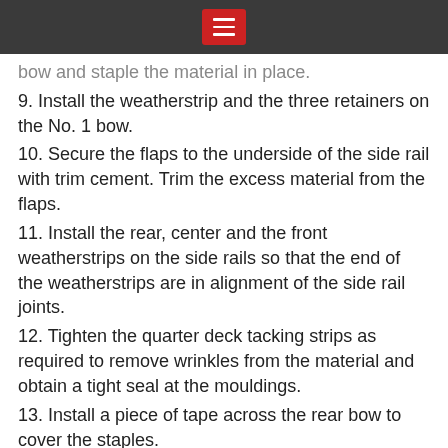[hamburger menu icon]
bow and staple the material in place.
9. Install the weatherstrip and the three retainers on the No. 1 bow.
10. Secure the flaps to the underside of the side rail with trim cement. Trim the excess material from the flaps.
11. Install the rear, center and the front weatherstrips on the side rails so that the end of the weatherstrips are in alignment of the side rail joints.
12. Tighten the quarter deck tacking strips as required to remove wrinkles from the material and obtain a tight seal at the mouldings.
13. Install a piece of tape across the rear bow to cover the staples.
14. Install the moulding retainer, moulding and the two tips on the rear bow.
15. Secure the back curtain to the upper part of the